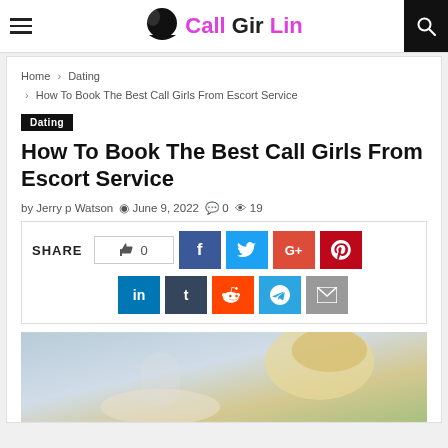Call Gir Lin — site header with hamburger menu and search icon
Home › Dating › How To Book The Best Call Girls From Escort Service
Dating
How To Book The Best Call Girls From Escort Service
by Jerry p Watson  June 9, 2022  0  19
[Figure (infographic): Social share bar with SHARE label, thumbs-up 0 button, Facebook, Twitter, Google+, Pinterest, LinkedIn, Tumblr, Reddit, Telegram, and Email buttons]
[Figure (photo): Partial photo of a blonde woman near a decorative mirror]